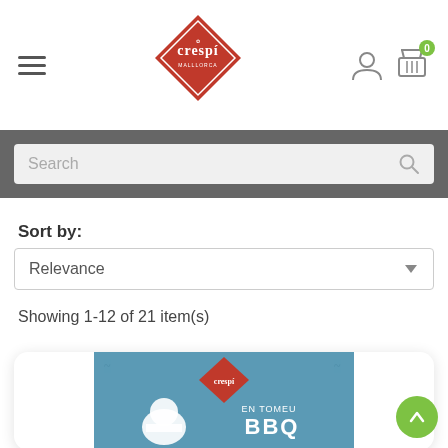[Figure (logo): Crespi brand logo — red diamond shape with 'crespí' text and 'MALLLORCA' subtitle]
Search
Sort by:
Relevance
Showing 1-12 of 21 item(s)
[Figure (photo): Crespi product packaging — blue background with Crespi logo, cartoon chef, text 'EN TOMEU BBQ']